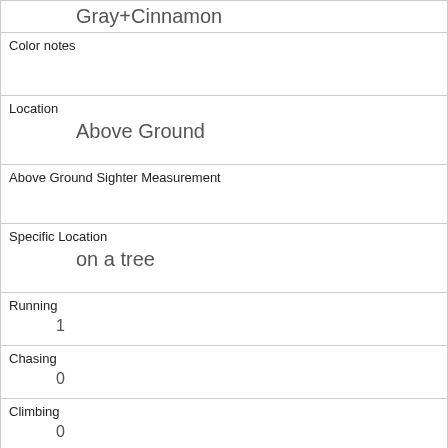| Gray+Cinnamon |
| Color notes |  |
| Location | Above Ground |
| Above Ground Sighter Measurement |  |
| Specific Location | on a tree |
| Running | 1 |
| Chasing | 0 |
| Climbing | 0 |
| Eating | 0 |
| Foraging | 0 |
| Other Activities |  |